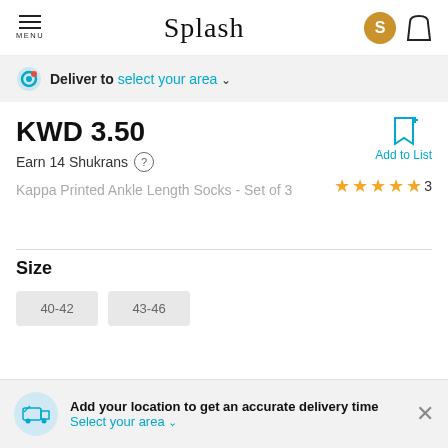Splash
Deliver to select your area
KWD 3.50
Earn 14 Shukrans
Add to List
Kappa Printed Ankle Length Socks - Set of 3
★★★★★ 3
Size
40-42
43-46
Add your location to get an accurate delivery time
Select your area